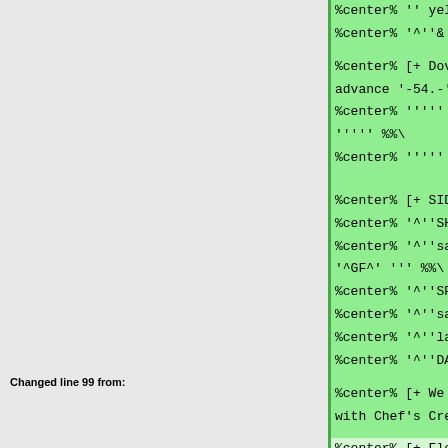%center% '' yellow squash, saute w
%center% '^''& extra virgin olive o
%center% [+ Dover Sole is available  advance '-54.-' +] %% [[<<]]
%center% ''''' order must be placed '''''  %%\
%center% '''''   - 12 hours advance
%center% [+ SIDES '-8.-' +] %% [[<<
%center% '^''SHAVED BRUSSEL SPROUTS
%center% '^''sauté with garlic, oli '^GF^' '''   %%\
%center% '^''SPANAKOPITA''^'   %%\
%center% '^''savory spinach & Frenc
%center% '^''layered between crispy
%center% '^''DAUPHINOIS POTATO''^'
%center% [+ We are happy to prepare  with Chef's Creation +] %% [[<<]]
Changed line 99 from:
%center% [+ Flourless Chocolate Cak  %% [[<<]]